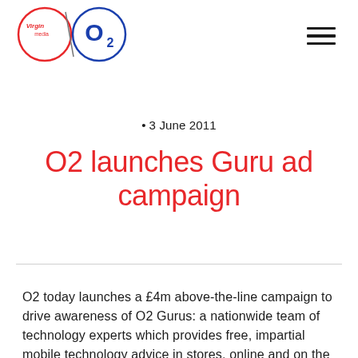[Figure (logo): Virgin Media O2 combined logo — red Virgin Media script inside red circle on left, blue O2 with subscript 2 inside blue circle on right, separated by a diagonal slash]
• 3 June 2011
O2 launches Guru ad campaign
O2 today launches a £4m above-the-line campaign to drive awareness of O2 Gurus: a nationwide team of technology experts which provides free, impartial mobile technology advice in stores, online and on the phone.